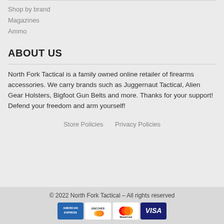Shop by brand
Magazines
Ammo
ABOUT US
North Fork Tactical is a family owned online retailer of firearms accessories. We carry brands such as Juggernaut Tactical, Alien Gear Holsters, Bigfoot Gun Belts and more. Thanks for your support! Defend your freedom and arm yourself!
Store Policies    Privacy Policies
© 2022 North Fork Tactical – All rights reserved